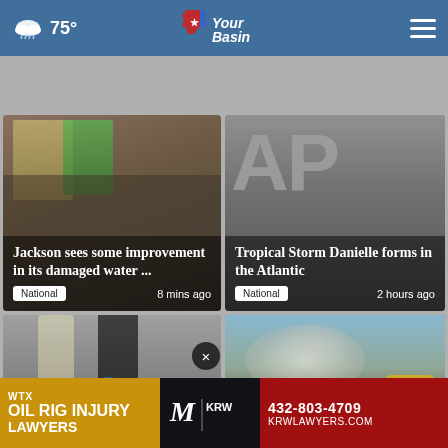75° YourBasin
[Figure (screenshot): News card: Workers in safety vests near water bottles - Jackson water crisis story]
Jackson sees some improvement in its damaged water ...
National    8 mins ago
[Figure (screenshot): News card: AP logo gray background - Tropical Storm Danielle story]
Tropical Storm Danielle forms in the Atlantic
National    2 hours ago
[Figure (screenshot): News card: Couple standing in front of building holding blue object]
'Tra... Men... fa...
[Figure (screenshot): News card: Firefighter in yellow gear with smoke in background]
Firefighter...
[Figure (screenshot): Advertisement banner: WTX Oil Rig Injury Lawyers - KRW - 432-803-4709 - KRWLAWYERS.COM]